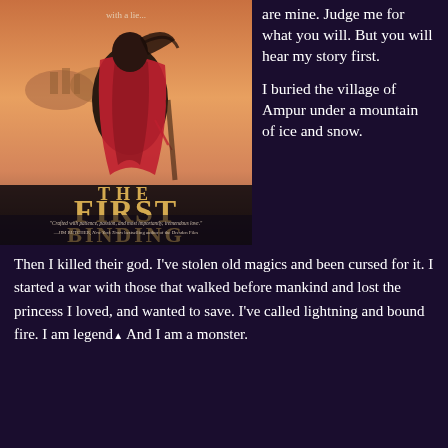[Figure (illustration): Book cover for 'The First Binding' with a figure in red cloak against a fantasy landscape background. Gold text reads 'THE FIRST BINDING'. A blurb from Jim Butcher at the bottom.]
are mine. Judge me for what you will. But you will hear my story first.

I buried the village of Ampur under a mountain of ice and snow.
Then I killed their god. I've stolen old magics and been cursed for it. I started a war with those that walked before mankind and lost the princess I loved, and wanted to save. I've called lightning and bound fire. I am legend▲ And I am a monster.